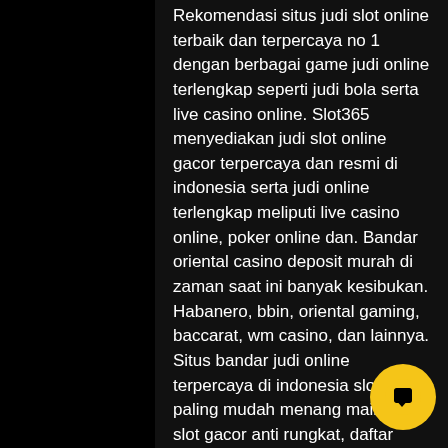Rekomendasi situs judi slot online terbaik dan terpercaya no 1 dengan berbagai game judi online terlengkap seperti judi bola serta live casino online. Slot365 menyediakan judi slot online gacor terpercaya dan resmi di indonesia serta judi online terlengkap meliputi live casino online, poker online dan. Bandar oriental casino deposit murah di zaman saat ini banyak kesibukan. Habanero, bbin, oriental gaming, baccarat, wm casino, dan lainnya. Situs bandar judi online terpercaya di indonesia slot95 paling mudah menang main judi slot gacor anti rungkat, daftar website resmi bandar slot online. Daftar situs pg soft slot bet murah jingga888 - agen pg slot terpercaya 2022. Tentunya sudah memahami akrab bandar taruhan judi satu ini
Earning comp points into their games. the casino merkur win, which 18 years. One of gambling over 2. Easily withdrawal
[Figure (illustration): Yellow circular chat/message button with a speech bubble icon in the bottom right corner]